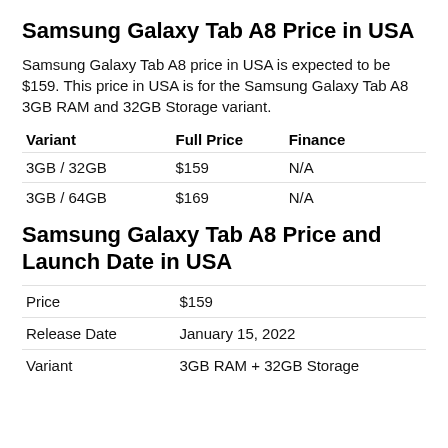Samsung Galaxy Tab A8 Price in USA
Samsung Galaxy Tab A8 price in USA is expected to be $159. This price in USA is for the Samsung Galaxy Tab A8 3GB RAM and 32GB Storage variant.
| Variant | Full Price | Finance |
| --- | --- | --- |
| 3GB / 32GB | $159 | N/A |
| 3GB / 64GB | $169 | N/A |
Samsung Galaxy Tab A8 Price and Launch Date in USA
| Price | $159 |
| Release Date | January 15, 2022 |
| Variant | 3GB RAM + 32GB Storage |